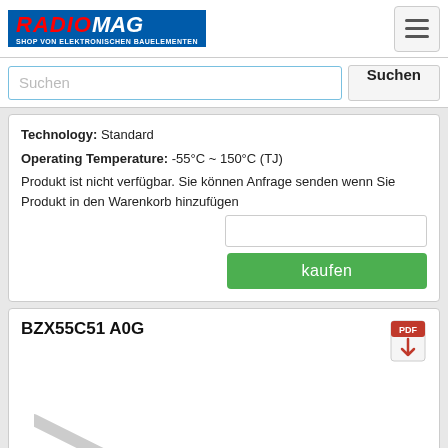RADIOMAG - SHOP VON ELEKTRONISCHEN BAUELEMENTEN
Technology: Standard
Operating Temperature: -55°C ~ 150°C (TJ)
Produkt ist nicht verfügbar. Sie können Anfrage senden wenn Sie Produkt in den Warenkorb hinzufügen
BZX55C51 A0G
[Figure (illustration): Illustration of a through-hole diode component with brown cylindrical body and black band, with two silver wire leads extending diagonally]